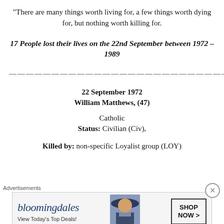“There are many things worth living for, a few things worth dying for, but nothing worth killing for.
17 People lost their lives on the 22nd September between 1972 – 1989
————————————————————————————
22 September 1972
William Matthews,  (47)
Catholic
Status: Civilian (Civ),
Killed by: non-specific Loyalist group (LOY)
[Figure (other): Bloomingdale's advertisement banner with logo, 'View Today’s Top Deals!', a woman in a wide-brim hat, and a 'SHOP NOW >' button.]